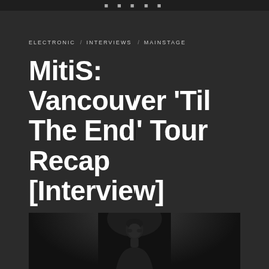ELECTRONIC / INTERVIEWS / MAINSTAGE
MitiS: Vancouver 'Til The End' Tour Recap [Interview]
MAY 3, 2018 / EDWIN TSANG
[Figure (photo): Dark photo of a person (MitiS) visible from the chest up, illuminated subtly against a very dark background]